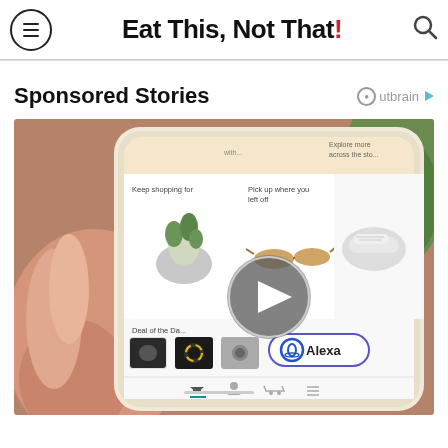Eat This, Not That!
Sponsored Stories
[Figure (screenshot): Hand holding a smartphone displaying the Amazon app shopping interface with sections: 'Keep shopping for' (plant and other items), 'Pick up where you left off' (sunglasses), 'Explore more across the store' (sneakers), 'Deal of the D...' (cameras), Alexa button visible, and a video play button overlay in the center.]